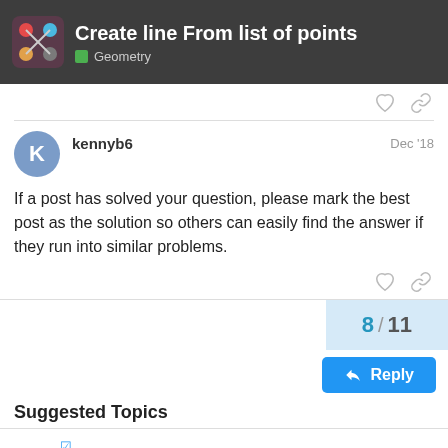Create line From list of points — Geometry
kennyb6   Dec '18
If a post has solved your question, please mark the best post as the solution so others can easily find the answer if they run into similar problems.
8 / 11
Reply
Suggested Topics
✓ Producing only a single Object Data output for multiple objects   6